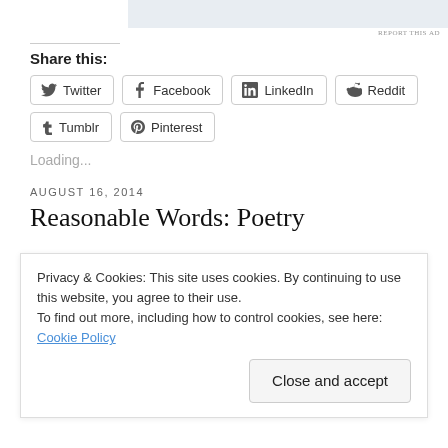[Figure (other): Ad banner placeholder at top]
Share this:
Twitter
Facebook
LinkedIn
Reddit
Tumblr
Pinterest
Loading...
AUGUST 16, 2014
Reasonable Words: Poetry
Privacy & Cookies: This site uses cookies. By continuing to use this website, you agree to their use.
To find out more, including how to control cookies, see here: Cookie Policy
Close and accept